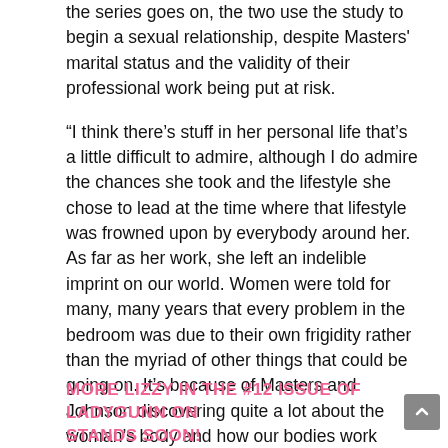the series goes on, the two use the study to begin a sexual relationship, despite Masters' marital status and the validity of their professional work being put at risk.
“I think there's stuff in her personal life that's a little difficult to admire, although I do admire the chances she took and the lifestyle she chose to lead at the time where that lifestyle was frowned upon by everybody around her. As far as her work, she left an indelible imprint on our world. Women were told for many, many years that every problem in the bedroom was due to their own frigidity rather than the myriad of other things that could be going on. It’s because of Masters and Johnson discovering quite a lot about the woman’s body and how our bodies work during sex that ended up liberating tons of women.”
MORE LIZZY IN THE #12 ISSUE OF LADYGUNN ON STANDS SOON!